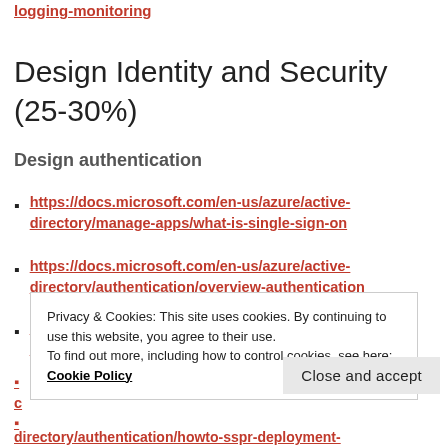logging-monitoring
Design Identity and Security (25-30%)
Design authentication
https://docs.microsoft.com/en-us/azure/active-directory/manage-apps/what-is-single-sign-on
https://docs.microsoft.com/en-us/azure/active-directory/authentication/overview-authentication
https://docs.microsoft.com/en-us/azure/active-directory/conditional-access/overview (explore)
Privacy & Cookies: This site uses cookies. By continuing to use this website, you agree to their use. To find out more, including how to control cookies, see here: Cookie Policy
Close and accept
directory/authentication/howto-sspr-deployment
directory/authentication/howto-sspr-deployment-plan